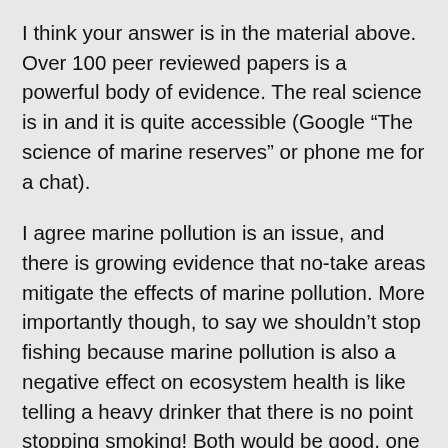I think your answer is in the material above. Over 100 peer reviewed papers is a powerful body of evidence. The real science is in and it is quite accessible (Google “The science of marine reserves” or phone me for a chat).
I agree marine pollution is an issue, and there is growing evidence that no-take areas mitigate the effects of marine pollution. More importantly though, to say we shouldn’t stop fishing because marine pollution is also a negative effect on ecosystem health is like telling a heavy drinker that there is no point stopping smoking! Both would be good, one is a step